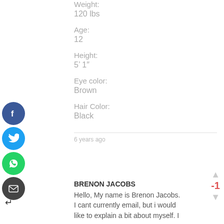Weight:
120 lbs
Age:
12
Height:
5’ 1″
Eye color:
Brown
Hair Color:
Black
6 years ago
BRENON JACOBS
Hello, My name is Brenon Jacobs. I cant currently email, but i would like to explain a bit about myself. I